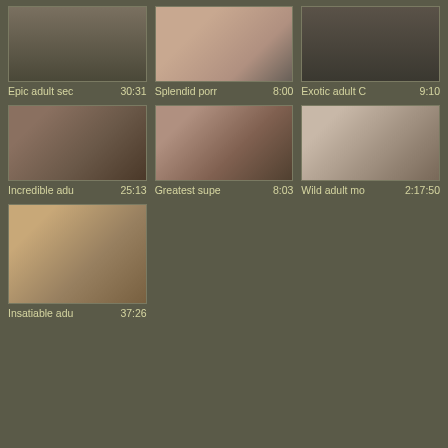[Figure (photo): Video thumbnail 1 - dark background]
Epic adult sec  30:31
[Figure (photo): Video thumbnail 2 - woman with toy]
Splendid porn  8:00
[Figure (photo): Video thumbnail 3 - dark scene]
Exotic adult C  9:10
[Figure (photo): Video thumbnail 4 - oral sex scene]
Incredible adu  25:13
[Figure (photo): Video thumbnail 5 - woman posing]
Greatest supe  8:03
[Figure (photo): Video thumbnail 6 - couple sex scene on bed]
Wild adult mo  2:17:50
[Figure (photo): Video thumbnail 7 - couple sex scene on floor]
Insatiable adu  37:26